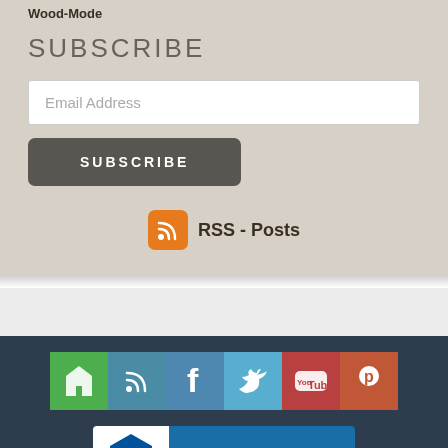Wood-Mode
SUBSCRIBE
Email Address
SUBSCRIBE
[Figure (logo): RSS feed orange icon with wifi symbol]
RSS - Posts
[Figure (infographic): Social media icon bar with icons for Houzz, RSS, Facebook, Twitter, YouTube, Pinterest]
[Figure (logo): BBB Accredited Business badge with blue background]